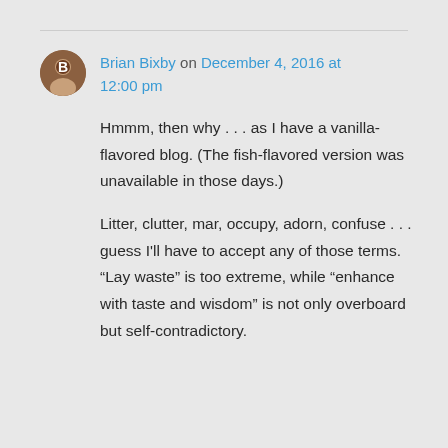Brian Bixby on December 4, 2016 at 12:00 pm
Hmmm, then why . . . as I have a vanilla-flavored blog. (The fish-flavored version was unavailable in those days.)
Litter, clutter, mar, occupy, adorn, confuse . . . guess I'll have to accept any of those terms. “Lay waste” is too extreme, while “enhance with taste and wisdom” is not only overboard but self-contradictory.